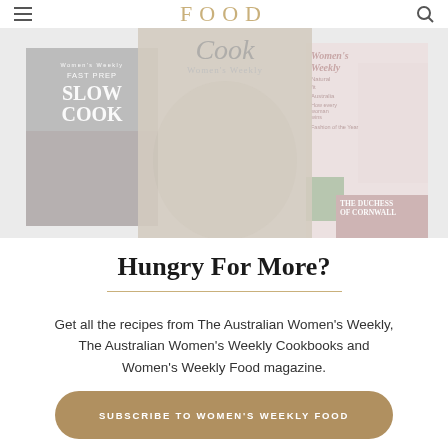FOOD
[Figure (illustration): Three overlapping magazine covers: left shows 'Women's Weekly Fast Prep Slow Cook' cookbook with grey background; center shows a Cookbooks Women's Weekly cover with a circular food image; right shows Women's Weekly magazine with a woman in white dress and 'The Duchess of Cornwall' feature.]
Hungry For More?
Get all the recipes from The Australian Women's Weekly, The Australian Women's Weekly Cookbooks and Women's Weekly Food magazine.
SUBSCRIBE TO WOMEN'S WEEKLY FOOD